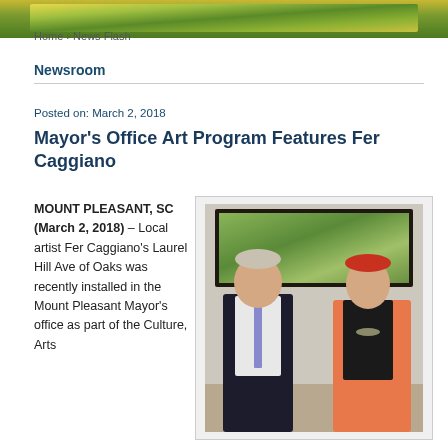Home › News Flash
Newsroom
Posted on: March 2, 2018
Mayor's Office Art Program Features Fer Caggiano
MOUNT PLEASANT, SC (March 2, 2018) – Local artist Fer Caggiano's Laurel Hill Ave of Oaks was recently installed in the Mount Pleasant Mayor's office as part of the Culture, Arts
[Figure (photo): Two people standing in front of a framed landscape painting of oak trees. One person in a dark suit with tie on the left, one person wearing a colorful cardigan and headband on the right.]